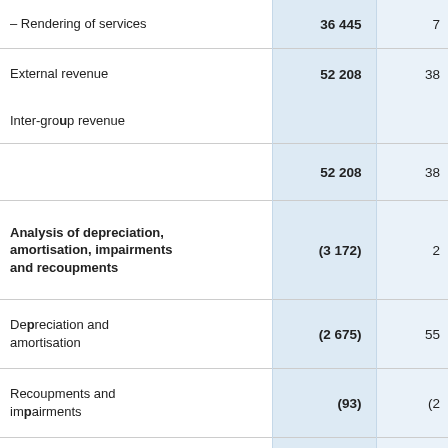| Description | Value1 | Value2 |
| --- | --- | --- |
| – Rendering of services | 36 445 | 7… |
| External revenue | 52 208 | 38… |
| Inter-group revenue |  |  |
|  | 52 208 | 38… |
| Analysis of depreciation, amortisation, impairments and recoupments | (3 172) | 2… |
| Depreciation and amortisation | (2 675) | 55… |
| Recoupments and impairments | (93) | (2… |
| Amortisation and impairment of intangible assets arising from business combinations | (404) | (35… |
| Share of results of associates and joint |  |  |